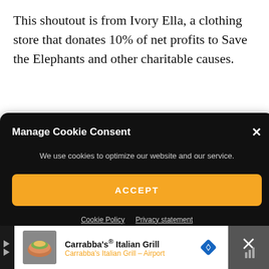This shoutout is from Ivory Ella, a clothing store that donates 10% of net profits to Save the Elephants and other charitable causes.
[Figure (screenshot): Cookie consent modal dialog with black background, title 'Manage Cookie Consent', description text, orange ACCEPT button, and links for Cookie Policy and Privacy statement]
[Figure (screenshot): Bottom advertisement bar for Carrabba's Italian Grill showing restaurant name, subtitle 'Carrabba's Italian Grill - Airport', navigation icon, and close button]